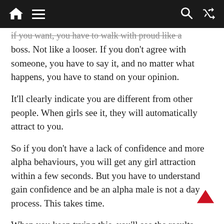Navigation bar with home, menu, search, and shuffle icons
if you want, you have to walk with proud like a boss. Not like a looser. If you don't agree with someone, you have to say it, and no matter what happens, you have to stand on your opinion.
It'll clearly indicate you are different from other people. When girls see it, they will automatically attract to you.
So if you don't have a lack of confidence and more alpha behaviours, you will get any girl attraction within a few seconds. But you have to understand gain confidence and be an alpha male is not a day process. This takes time.
When you keep trying this, you'll see the results. Always try to let go of your insecurity.